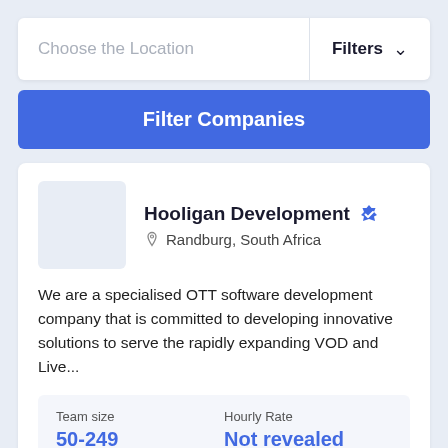Choose the Location
Filters
Filter Companies
Hooligan Development
Randburg, South Africa
We are a specialised OTT software development company that is committed to developing innovative solutions to serve the rapidly expanding VOD and Live...
Team size
50-249
Hourly Rate
Not revealed
Services:
.NET
Cloud Consulting
BI & Big Data Consulting